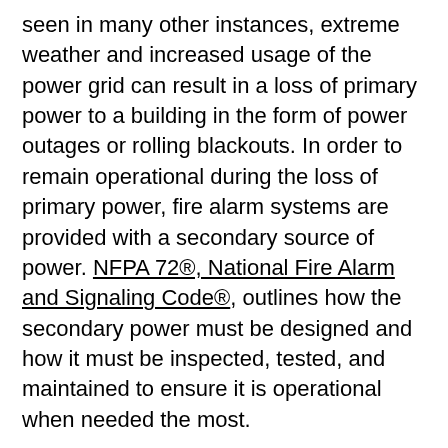seen in many other instances, extreme weather and increased usage of the power grid can result in a loss of primary power to a building in the form of power outages or rolling blackouts. In order to remain operational during the loss of primary power, fire alarm systems are provided with a secondary source of power. NFPA 72®, National Fire Alarm and Signaling Code®, outlines how the secondary power must be designed and how it must be inspected, tested, and maintained to ensure it is operational when needed the most.
The most common forms of secondary power supplies are batteries or an emergency generator. Secondary power supplies are designed to provide enough capacity to power the entire system for 24 hours on standby and then operate the system for at least 5 minutes under emergency conditions (15